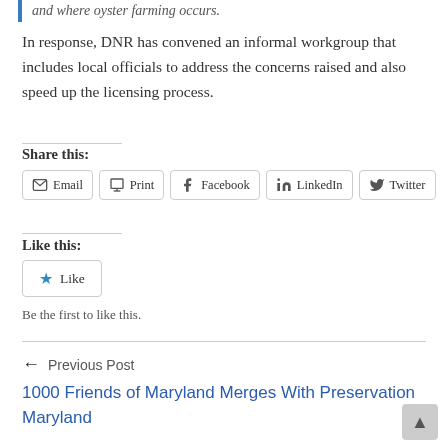and where oyster farming occurs.
In response, DNR has convened an informal workgroup that includes local officials to address the concerns raised and also speed up the licensing process.
Share this:
Email  Print  Facebook  LinkedIn  Twitter
Like this:
Like
Be the first to like this.
← Previous Post
1000 Friends of Maryland Merges With Preservation Maryland